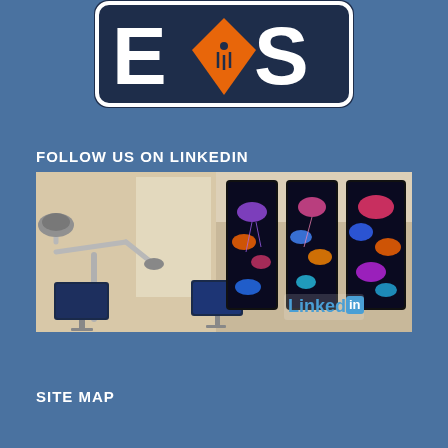[Figure (logo): EVS logo — dark navy rounded rectangle with large white letters E, V, S where the V contains an orange guitar pick / speaker icon]
FOLLOW US ON LINKEDIN
[Figure (photo): Interior photo of a medical/dental room with a robotic arm lamp, two monitors on stands, and three large vertical display screens on the wall showing colorful jellyfish imagery. A LinkedIn logo watermark appears in the lower right corner of the photo.]
SITE MAP